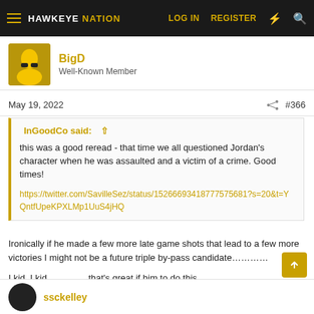HAWKEYE NATION  LOG IN  REGISTER
BigD
Well-Known Member
May 19, 2022  #366
InGoodCo said:
this was a good reread - that time we all questioned Jordan's character when he was assaulted and a victim of a crime. Good times!
https://twitter.com/SavilleSez/status/1526669341877757568​1?s=20&t=YQntfUpeKPXLMp1UuS4jHQ
Ironically if he made a few more late game shots that lead to a few more victories I might not be a future triple by-pass candidate…………

I kid, I kid…………. that's great if him to do this.
ssckelley